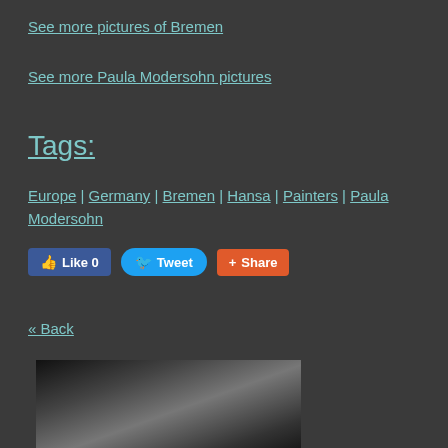See more pictures of Bremen
See more Paula Modersohn pictures
Tags:
Europe | Germany | Bremen | Hansa | Painters | Paula Modersohn
[Figure (other): Social sharing buttons: Like 0 (Facebook), Tweet (Twitter), Share (Google+)]
« Back
[Figure (photo): Black and white photograph partially visible at bottom of page]